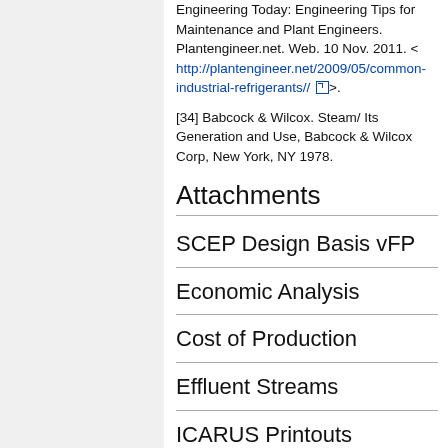Engineering Today: Engineering Tips for Maintenance and Plant Engineers. Plantengineer.net. Web. 10 Nov. 2011. < http://plantengineer.net/2009/05/common-industrial-refrigerants// >.
[34] Babcock & Wilcox. Steam/ Its Generation and Use, Babcock & Wilcox Corp, New York, NY 1978.
Attachments
SCEP Design Basis vFP
Economic Analysis
Cost of Production
Effluent Streams
ICARUS Printouts
Material Bal...